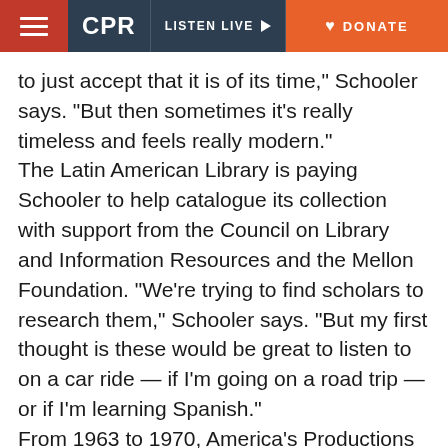CPR | LISTEN LIVE | DONATE
to just accept that it is of its time,” Schooler says. “But then sometimes it’s really timeless and feels really modern.”
The Latin American Library is paying Schooler to help catalogue its collection with support from the Council on Library and Information Resources and the Mellon Foundation. “We’re trying to find scholars to research them,” Schooler says. “But my first thought is these would be great to listen to on a car ride — if I’m going on a road trip — or if I’m learning Spanish.”
From 1963 to 1970, America’s Productions Incorporated made more than 130 Spanish-